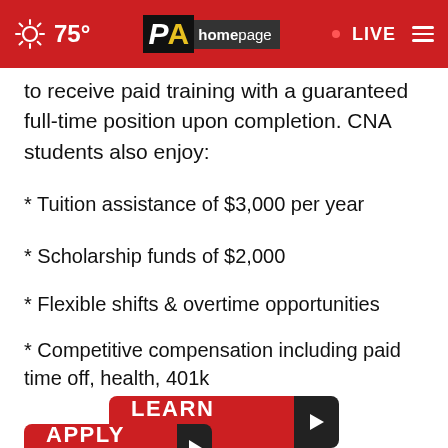[Figure (screenshot): PA Homepage website header with red background showing sun/weather icon, 75° temperature, PA Homepage logo, LIVE indicator, and hamburger menu]
to receive paid training with a guaranteed full-time position upon completion. CNA students also enjoy:
* Tuition assistance of $3,000 per year
* Scholarship funds of $2,000
* Flexible shifts & overtime opportunities
* Competitive compensation including paid time off, health, 401k
[Figure (other): LEARN MORE button with red background and dark arrow icon]
[Figure (other): APPLY NOW button with red background and dark arrow icon, partially visible]